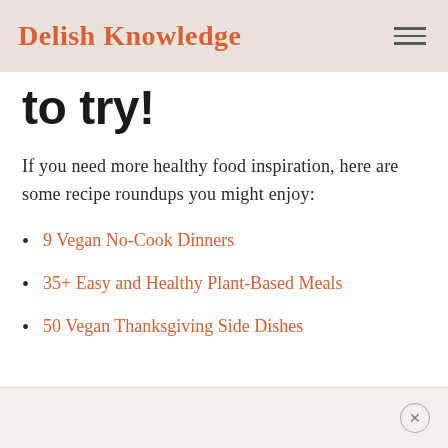Delish Knowledge
to try!
If you need more healthy food inspiration, here are some recipe roundups you might enjoy:
9 Vegan No-Cook Dinners
35+ Easy and Healthy Plant-Based Meals
50 Vegan Thanksgiving Side Dishes